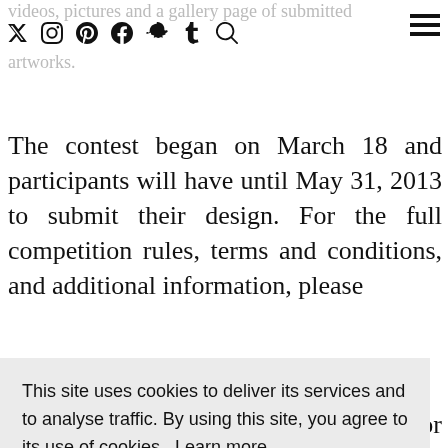videos, pictures and a gallery page of submitted artworks.
The contest began on March 18 and participants will have until May 31, 2013 to submit their design. For the full competition rules, terms and conditions, and additional information, please
or
This site uses cookies to deliver its services and to analyse traffic. By using this site, you agree to its use of cookies. Learn more
OK
[social media icons: twitter, instagram, pinterest, facebook, snapchat, tumblr, linkedin, email]